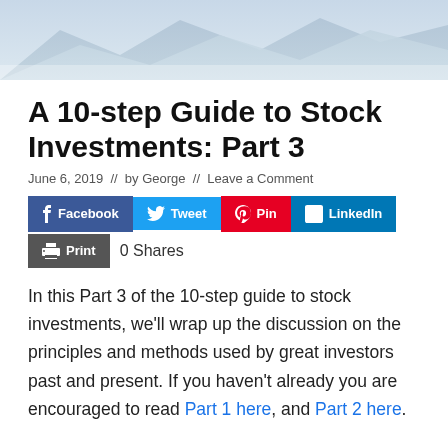[Figure (illustration): Abstract blue mountain/wave hero image banner at the top of the page]
A 10-step Guide to Stock Investments: Part 3
June 6, 2019  //  by George  //  Leave a Comment
[Figure (infographic): Social share buttons: Facebook, Tweet, Pin, LinkedIn, Print, 0 Shares]
In this Part 3 of the 10-step guide to stock investments, we'll wrap up the discussion on the principles and methods used by great investors past and present. If you haven't already you are encouraged to read Part 1 here, and Part 2 here.